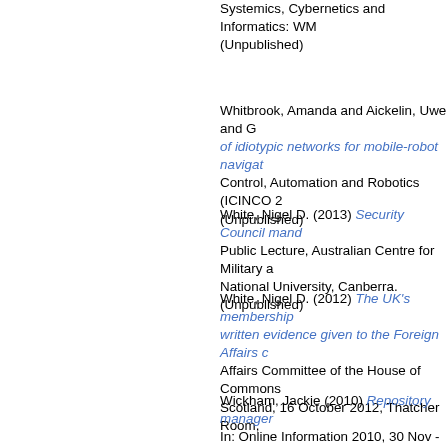Systemics, Cybernetics and Informatics: WM... (Unpublished)
Whitbrook, Amanda and Aickelin, Uwe and G... of idiotypic networks for mobile-robot navigat... Control, Automation and Robotics (ICINCO 2... (Unpublished)
White, Nigel D. (2013) Security Council mand... Public Lecture, Australian Centre for Military a... National University, Canberra. (Unpublished)
White, Nigel D. (2012) The UK's membership... written evidence given to the Foreign Affairs c... Affairs Committee of the House of Commons... Scotland, 16 October 2012, Thatcher Room,
Wickham, Jackie (2010) Repository manager... In: Online Information 2010, 30 Nov - 2 Dec 2...
Wietrzyk, Bartosz and Radenkovic, Milena (2... massive pervasive games in very unstable en... Wireless on Demand Network Systems and S
Williams, N.J. and Pierzycki, R. and Akeroyd,... acoustic simulations of hearing loss to descri... In: ISPOR 19th Annual European Congress,